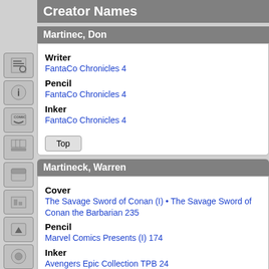Creator Names
Martinec, Don
Writer
FantaCo Chronicles 4
Pencil
FantaCo Chronicles 4
Inker
FantaCo Chronicles 4
Martineck, Warren
Cover
The Savage Sword of Conan (I) • The Savage Sword of Conan the Barbarian 235
Pencil
Marvel Comics Presents (I) 174
Inker
Avengers Epic Collection TPB 24
Avengers: The Terminatrix Objective 2
Avengers TPB: The Big Three 1
Black Panther (III) 29